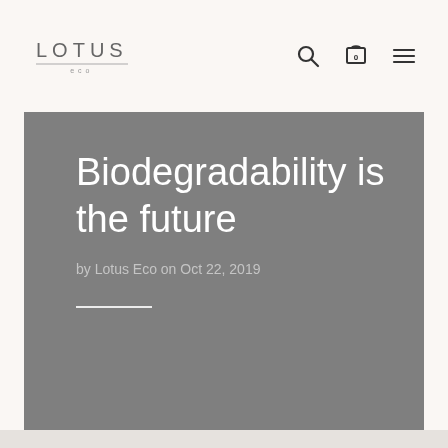LOTUS eco
Biodegradability is the future
by Lotus Eco on Oct 22, 2019